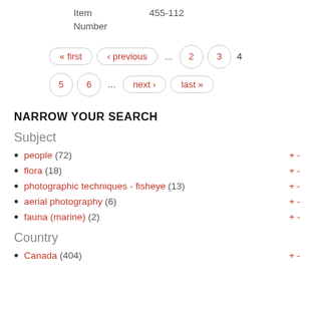Item Number   455-112
« first  ‹ previous  ...  2  3  4  5  6  ...  next ›  last »
NARROW YOUR SEARCH
Subject
people (72) + -
flora (18) + -
photographic techniques - fisheye (13) + -
aerial photography (6) + -
fauna (marine) (2) + -
Country
Canada (404) + -